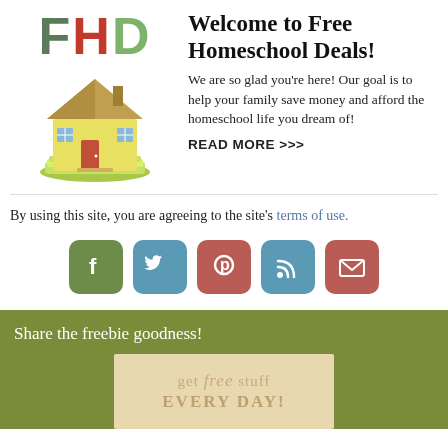[Figure (logo): FHD logo with colored letters F (gray-green), H (red), D (green) above a cartoon house illustration sitting on a stack of money]
Welcome to Free Homeschool Deals!
We are so glad you're here! Our goal is to help your family save money and afford the homeschool life you dream of!
READ MORE >>>
By using this site, you are agreeing to the site's terms of use.
[Figure (infographic): Row of five social media icon buttons: Facebook (green), Twitter (blue), Pinterest (red), RSS (blue), Email (red)]
Share the freebie goodness!
[Figure (illustration): Freebie subscription box image with text 'get free stuff EVERY DAY!' on a tan/cream background]